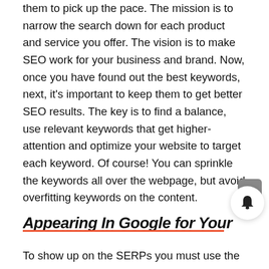them to pick up the pace. The mission is to narrow the search down for each product and service you offer. The vision is to make SEO work for your business and brand. Now, once you have found out the best keywords, next, it's important to keep them to get better SEO results. The key is to find a balance, use relevant keywords that get higher-attention and optimize your website to target each keyword. Of course! You can sprinkle the keywords all over the webpage, but avoid overfitting keywords on the content.
Appearing In Google for Your
[Figure (screenshot): Notification popup showing 'Movie tickets will cost just $3 on National Cinema Day' posted 5 hours ago, with close X button, scroll-to-top button, notification bell icon with badge showing 3]
To show up on the SERPs you must use the relevant